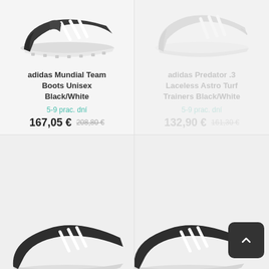[Figure (photo): Adidas Mundial Team Boots shoe image - black/white]
adidas Mundial Team Boots Unisex Black/White
5-9 prac. dní
167,05 € 208,80 €
[Figure (photo): Adidas Predator .3 Laceless Astro Turf shoe image - faded/greyed out]
adidas Predator .3 Laceless Astro Turf Trainers Black/White
5-9 prac. dní
132,90 € 161,30 €
[Figure (photo): Partial shoe image bottom left - dark grey shoe]
[Figure (photo): Partial shoe image bottom right - dark shoe]